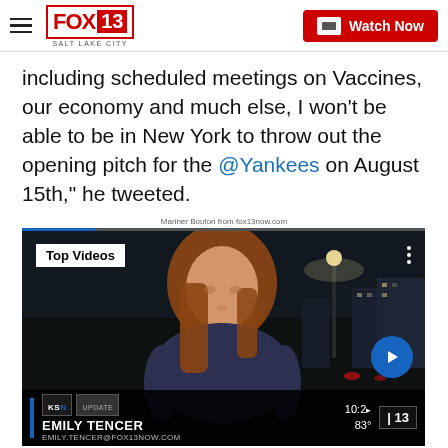FOX 13 SALT LAKE CITY — Watch Now
including scheduled meetings on Vaccines, our economy and much else, I won't be able to be in New York to throw out the opening pitch for the @Yankees on August 15th," he tweeted.
Mariner Bouton from fox13now.com
[Figure (screenshot): Video player showing a TV news broadcast with reporter Emily Tencer standing outside at night. Lower third shows 'EMILY TENCER / EMILY.TENCER@FOX13NOW.COM'. A 'Top Videos' badge appears top left. Time shows 10:2x, temperature 83°, FOX 13 logo bottom right.]